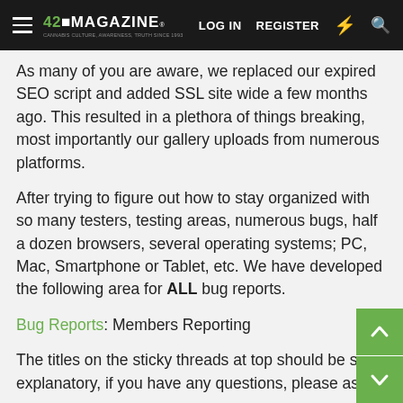420 MAGAZINE | LOG IN | REGISTER
As many of you are aware, we replaced our expired SEO script and added SSL site wide a few months ago. This resulted in a plethora of things breaking, most importantly our gallery uploads from numerous platforms.
After trying to figure out how to stay organized with so many testers, testing areas, numerous bugs, half a dozen browsers, several operating systems; PC, Mac, Smartphone or Tablet, etc. We have developed the following area for ALL bug reports.
Bug Reports: Members Reporting
The titles on the sticky threads at top should be self explanatory, if you have any questions, please ask.
From this moment forward, we need EVERYONE to help test from every platform possible, so we can fix the issues.